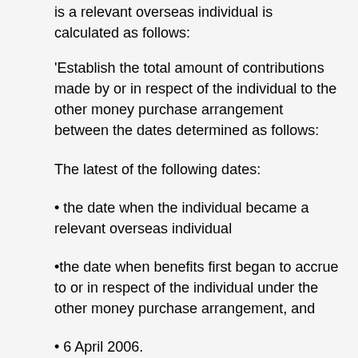is a relevant overseas individual is calculated as follows:
‘Establish the total amount of contributions made by or in respect of the individual to the other money purchase arrangement between the dates determined as follows:
The latest of the following dates:
the date when the individual became a relevant overseas individual
the date when benefits first began to accrue to or in respect of the individual under the other money purchase arrangement, and
6 April 2006.
the earliest of the following dates: